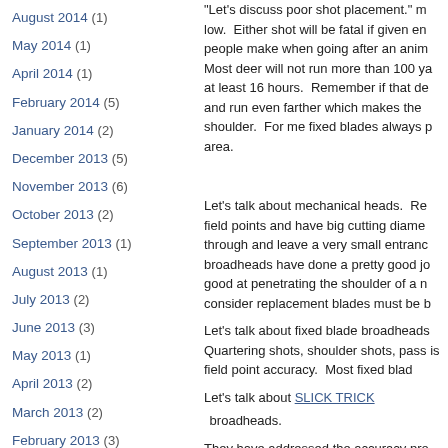August 2014 (1)
May 2014 (1)
April 2014 (1)
February 2014 (5)
January 2014 (2)
December 2013 (5)
November 2013 (6)
October 2013 (2)
September 2013 (1)
August 2013 (1)
July 2013 (2)
June 2013 (3)
May 2013 (1)
April 2013 (2)
March 2013 (2)
February 2013 (3)
January 2013 (5)
October 2012 (1)
September 2012 (7)
August 2012 (4)
"Let's discuss poor shot placement." m low. Either shot will be fatal if given en people make when going after an anim Most deer will not run more than 100 ya at least 16 hours. Remember if that de and run even farther which makes the shoulder. For me fixed blades always p area.
Let's talk about mechanical heads. Re field points and have big cutting diame through and leave a very small entranc broadheads have done a pretty good jo good at penetrating the shoulder of a n consider replacement blades must be b
Let's talk about fixed blade broadheads Quartering shots, shoulder shots, pass is field point accuracy. Most fixed blad
Let's talk about SLICK TRICK broadheads.
They have addressed the accuracy pro cutting diameter but they have a 1 1/8" surface as a 2 blade rage. Be careful t are without a doubt some of the toughe toughest until I tried SLICK TRICKS. Y